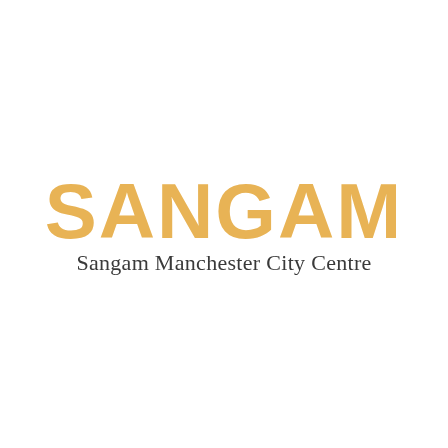SANGAM
Sangam Manchester City Centre